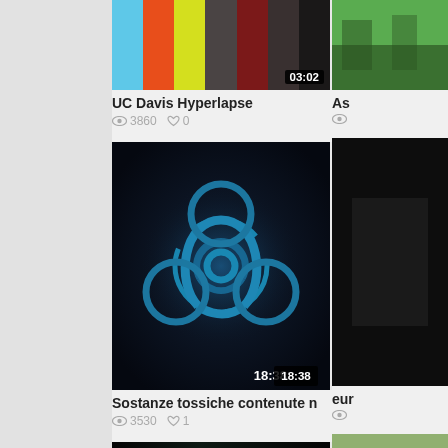[Figure (screenshot): Video thumbnail: color bars with duration 03:02]
UC Davis Hyperlapse
3860 views, 0 likes
[Figure (screenshot): Partially visible video thumbnail on right side]
As...
[Figure (screenshot): Video thumbnail: biohazard symbol on dark background with duration 18:38]
Sostanze tossiche contenute n
3530 views, 1 like
[Figure (screenshot): Partially visible dark video thumbnail on right]
eur...
[Figure (screenshot): Video thumbnail: water circle abstract visual with duration 09:13]
[Water Circle] Dubit and T-Fa
3176 views, 0 likes
[Figure (screenshot): Partially visible outdoor scene thumbnail on right]
Sea...